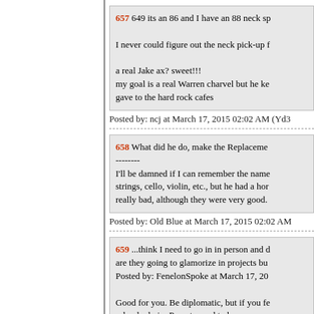657 649 its an 86 and I have an 88 neck sp

I never could figure out the neck pick-up f

a real Jake ax? sweet!!!
my goal is a real Warren charvel but he ke gave to the hard rock cafes
Posted by: ncj at March 17, 2015 02:02 AM (Yd3
658 What did he do, make the Replaceme --------
I'll be damned if I can remember the name strings, cello, violin, etc., but he had a hor really bad, although they were very good.
Posted by: Old Blue at March 17, 2015 02:02 AM
659 ...think I need to go in in person and d are they going to glamorize in projects bu Posted by: FenelonSpoke at March 17, 20

Good for you. Be diplomatic, but if you fe school admin. Parents need to keep an eye indoctrination than education.